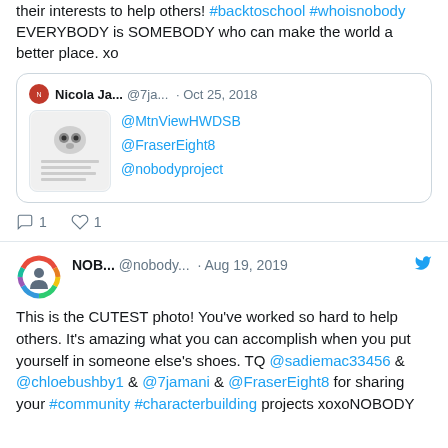their interests to help others! #backtoschool #whoisnobody EVERYBODY is SOMEBODY who can make the world a better place. xo
[Figure (screenshot): Quoted tweet by Nicola Ja... @7ja... Oct 25, 2018 mentioning @MtnViewHWDSB @FraserEight8 @nobodyproject with an image of a white device]
Reply 1  Like 1
NOB... @nobody... · Aug 19, 2019 — This is the CUTEST photo! You've worked so hard to help others. It's amazing what you can accomplish when you put yourself in someone else's shoes. TQ @sadiemac33456 & @chloebushby1 & @7jamani & @FraserEight8 for sharing your #community #characterbuilding projects xoxoNOBODY